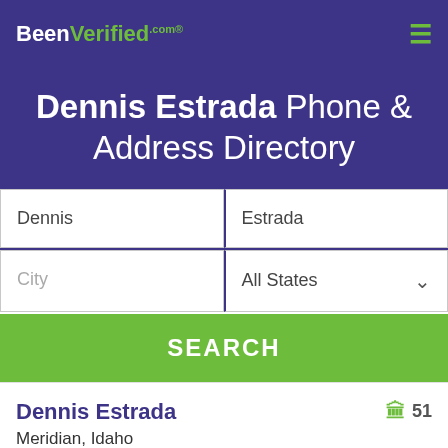BeenVerified.com
Dennis Estrada Phone & Address Directory
Dennis | Estrada | City | All States
SEARCH
Dennis Estrada  51
Meridian, Idaho
208-250-1587, 208-463-9277